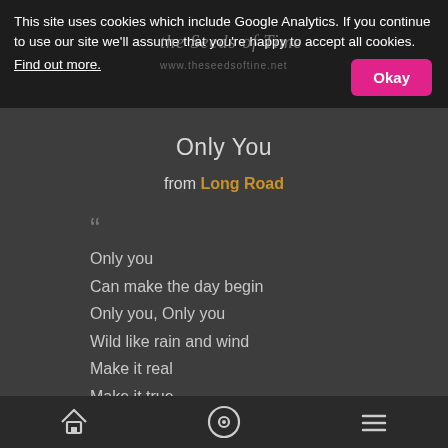This site uses cookies which include Google Analytics. If you continue to use our site we'll assume that you're happy to accept all cookies.
Find out more.
Only You
from Long Road
Only you
Can make the day begin
Only you, Only you
Wild like rain and wind
Make it real
Make it true
Only you
Can light the flame
I call your name again
Through the rain